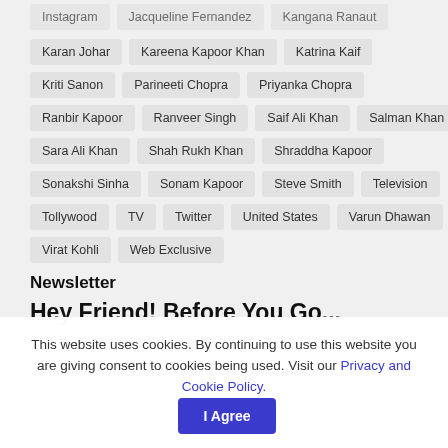Instagram
Jacqueline Fernandez
Kangana Ranaut
Karan Johar
Kareena Kapoor Khan
Katrina Kaif
Kriti Sanon
Parineeti Chopra
Priyanka Chopra
Ranbir Kapoor
Ranveer Singh
Saif Ali Khan
Salman Khan
Sara Ali Khan
Shah Rukh Khan
Shraddha Kapoor
Sonakshi Sinha
Sonam Kapoor
Steve Smith
Television
Tollywood
TV
Twitter
United States
Varun Dhawan
Virat Kohli
Web Exclusive
Newsletter
Hey Friend! Before You Go...
This website uses cookies. By continuing to use this website you are giving consent to cookies being used. Visit our Privacy and Cookie Policy.